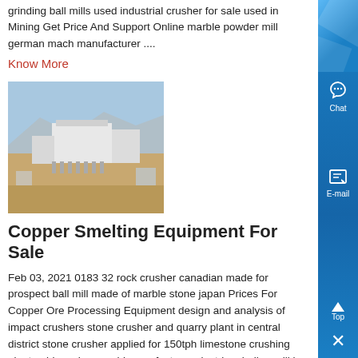grinding ball mills used industrial crusher for sale used in Mining Get Price And Support Online marble powder mill german mach manufacturer ....
Know More
[Figure (photo): Aerial view of a copper smelting or industrial processing facility with large buildings and equipment in an arid landscape]
Copper Smelting Equipment For Sale
Feb 03, 2021 0183 32 rock crusher canadian made for prospect ball mill made of marble stone japan Prices For Copper Ore Processing Equipment design and analysis of impact crushers stone crusher and quarry plant in central district stone crusher applied for 150tph limestone crushing plant gold crusher machi manufacturer electric grinding mill in ....